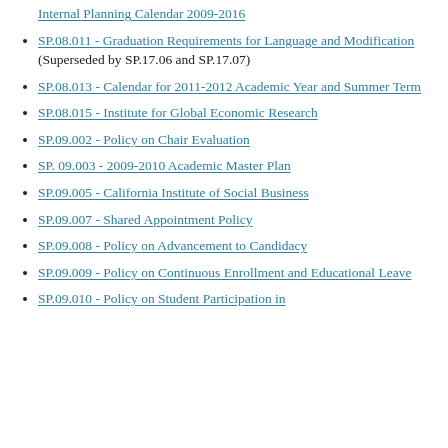Internal Planning Calendar 2009-2016
SP.08.011 - Graduation Requirements for Language and Modification (Superseded by SP.17.06 and SP.17.07)
SP.08.013 - Calendar for 2011-2012 Academic Year and Summer Term
SP.08.015 - Institute for Global Economic Research
SP.09.002 - Policy on Chair Evaluation
SP. 09.003 - 2009-2010 Academic Master Plan
SP.09.005 - California Institute of Social Business
SP.09.007 - Shared Appointment Policy
SP.09.008 - Policy on Advancement to Candidacy
SP.09.009 - Policy on Continuous Enrollment and Educational Leave
SP.09.010 - Policy on Student Participation in